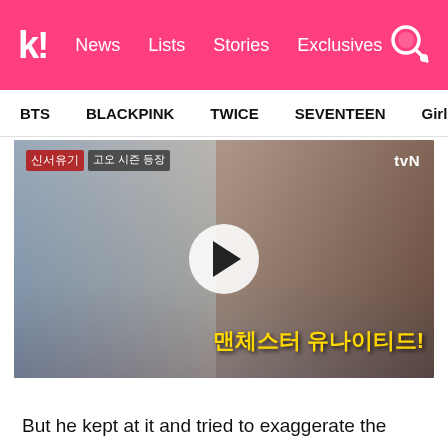k! News Lists Stories Exclusives
BTS  BLACKPINK  TWICE  SEVENTEEN  Girls' Generation
[Figure (screenshot): Video thumbnail from tvN Korean variety show showing two men wearing headphones. Left person has grey-tinted hair in patterned sweater, right person wears red headband and glasses. A white play button circle is overlaid in the center. Korean subtitle text reads: 맨체스터 유나이티드!]
But he kept at it and tried to exaggerate the sounds even more, much to everyone's delight,